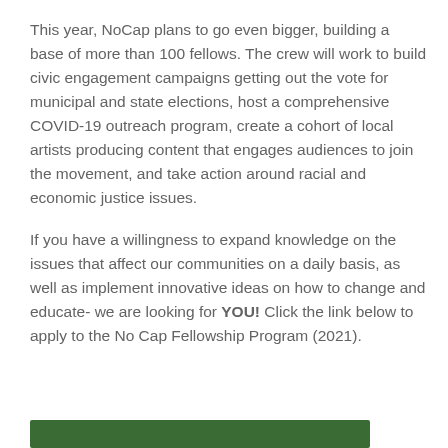This year, NoCap plans to go even bigger, building a base of more than 100 fellows. The crew will work to build civic engagement campaigns getting out the vote for municipal and state elections, host a comprehensive COVID-19 outreach program, create a cohort of local artists producing content that engages audiences to join the movement, and take action around racial and economic justice issues.
If you have a willingness to expand knowledge on the issues that affect our communities on a daily basis, as well as implement innovative ideas on how to change and educate- we are looking for YOU!  Click the link below to apply to the No Cap Fellowship Program (2021).
[Figure (other): Dark green horizontal bar at the bottom of the page]